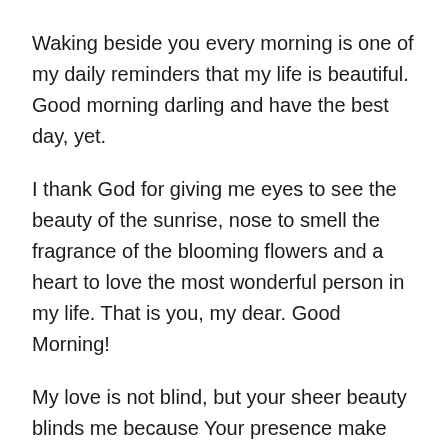Waking beside you every morning is one of my daily reminders that my life is beautiful. Good morning darling and have the best day, yet.
I thank God for giving me eyes to see the beauty of the sunrise, nose to smell the fragrance of the blooming flowers and a heart to love the most wonderful person in my life. That is you, my dear. Good Morning!
My love is not blind, but your sheer beauty blinds me because Your presence make my heart happy. Good morning to my beautiful wife!.
A very good morning to the love of my life. With this